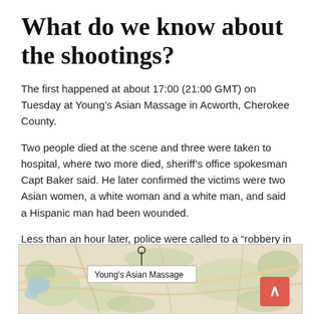What do we know about the shootings?
The first happened at about 17:00 (21:00 GMT) on Tuesday at Young’s Asian Massage in Acworth, Cherokee County.
Two people died at the scene and three were taken to hospital, where two more died, sheriff’s office spokesman Capt Baker said. He later confirmed the victims were two Asian women, a white woman and a white man, and said a Hispanic man had been wounded.
Less than an hour later, police were called to a “robbery in progress” at Gold Spa in north-east Atlanta.
Shootings in Atlanta
[Figure (map): Map showing the location of Young's Asian Massage near Acworth, Cherokee County, north of Atlanta. The map is a terrain/road style with a marker and label callout indicating Young's Asian Massage.]